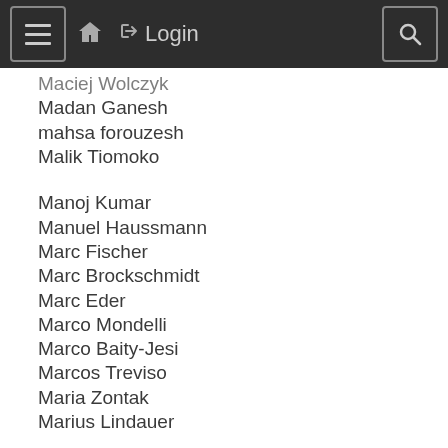≡ 🏠 →) Login 🔍
Maciej Wolczyk
Madan Ganesh
mahsa forouzesh
Malik Tiomoko
Manoj Kumar
Manuel Haussmann
Marc Fischer
Marc Brockschmidt
Marc Eder
Marco Mondelli
Marco Baity-Jesi
Marcos Treviso
Maria Zontak
Marius Lindauer
Mariya Toneva
Marlos C. Machado
Martin Klissarov
Martin Trimmel